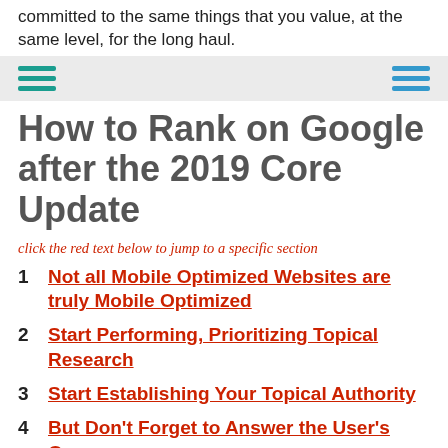committed to the same things that you value, at the same level, for the long haul.
[Figure (other): Navigation bar with two hamburger menu icons — left in teal and right in blue — on a light gray background]
How to Rank on Google after the 2019 Core Update
click the red text below to jump to a specific section
1  Not all Mobile Optimized Websites are truly Mobile Optimized
2  Start Performing, Prioritizing Topical Research
3  Start Establishing Your Topical Authority
4  But Don't Forget to Answer the User's Query